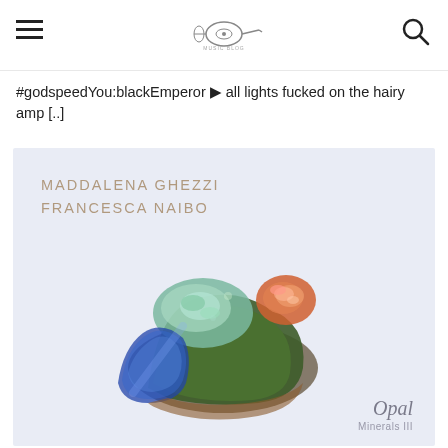[hamburger menu] [logo] [search icon]
#godspeedYou:blackEmperor ▶ all lights fucked on the hairy amp [..]
[Figure (illustration): Album cover art for 'Opal - Minerals III' by Maddalena Ghezzi and Francesca Naibo. Light lavender-blue background with colorful opal mineral specimens arranged centrally. Text at top reads 'MADDALENA GHEZZI FRANCESCA NAIBO' in uppercase light tan letters. Bottom right reads 'Opal' in italic serif and 'Minerals III' below in small sans-serif.]